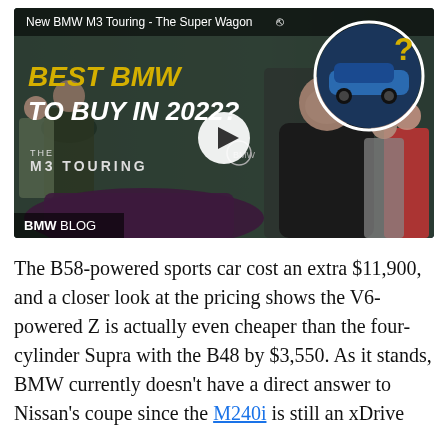[Figure (screenshot): Video thumbnail for 'New BMW M3 Touring - The Super Wagon' showing a man at a car event with text 'BEST BMW TO BUY IN 2022?' and 'THE M3 TOURING', BMWBLOG logo, and a circular inset of a blue BMW. A white play button circle is centered on the thumbnail.]
The B58-powered sports car cost an extra $11,900, and a closer look at the pricing shows the V6-powered Z is actually even cheaper than the four-cylinder Supra with the B48 by $3,550. As it stands, BMW currently doesn't have a direct answer to Nissan's coupe since the M240i is still an xDrive